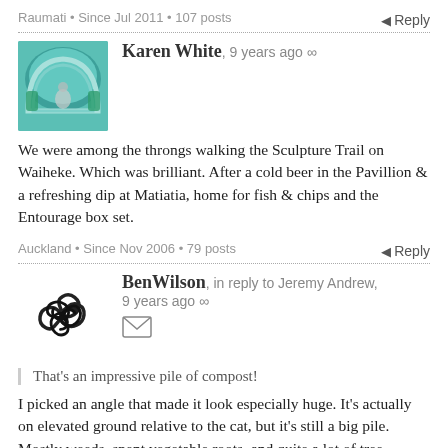Raumati • Since Jul 2011 • 107 posts
Reply
[Figure (photo): Avatar photo of Karen White showing a bouncy castle/inflatable structure in teal/green colors]
Karen White, 9 years ago ∞
We were among the throngs walking the Sculpture Trail on Waiheke. Which was brilliant. After a cold beer in the Pavillion & a refreshing dip at Matiatia, home for fish & chips and the Entourage box set.
Auckland • Since Nov 2006 • 79 posts
Reply
[Figure (logo): Triskelion/triple spiral symbol avatar for BenWilson]
BenWilson, in reply to Jeremy Andrew, 9 years ago ∞
That's an impressive pile of compost!
I picked an angle that made it look especially huge. It's actually on elevated ground relative to the cat, but it's still a big pile. Mostly weeds, spent vegetable roots, and quite a lot of tree trimmings.